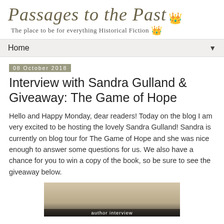Passages to the Past — The place to be for everything Historical Fiction
Home
08 October 2018
Interview with Sandra Gulland & Giveaway: The Game of Hope
Hello and Happy Monday, dear readers! Today on the blog I am very excited to be hosting the lovely Sandra Gulland! Sandra is currently on blog tour for The Game of Hope and she was nice enough to answer some questions for us. We also have a chance for you to win a copy of the book, so be sure to see the giveaway below.
[Figure (photo): Partial image showing author interview photo, cropped at bottom of page]